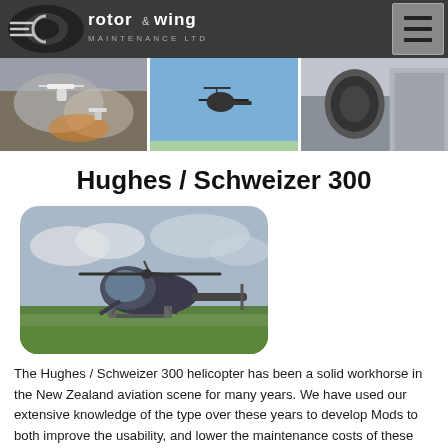rotor & wing MAINTENANCE LTD
[Figure (photo): Three photos: helicopter flying over smoke/fire, helicopter silhouette in blue sky, aircraft engine nacelle near hangar]
Hughes / Schweizer 300
[Figure (photo): Photo of a Hughes/Schweizer 300 helicopter on a grass airfield, blue/grey sky with clouds]
The Hughes / Schweizer 300 helicopter has been a solid workhorse in the New Zealand aviation scene for many years. We have used our extensive knowledge of the type over these years to develop Mods to both improve the usability, and lower the maintenance costs of these machines.  Browse the list below, and Contact us to discuss your requirements.